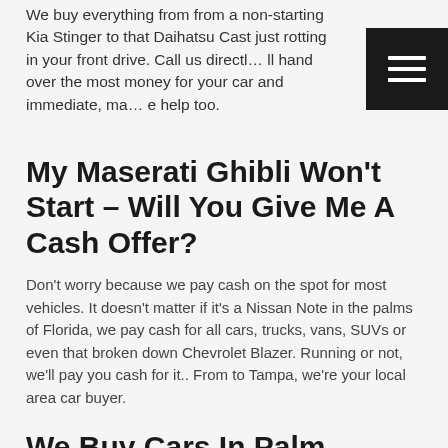We buy everything from from a non-starting Kia Stinger to that Daihatsu Cast just rotting in your front drive. Call us directly, we'll hand over the most money for your car and immediate, matching help too.
My Maserati Ghibli Won't Start – Will You Give Me A Cash Offer?
Don't worry because we pay cash on the spot for most vehicles. It doesn't matter if it's a Nissan Note in the palms of Florida, we pay cash for all cars, trucks, vans, SUVs or even that broken down Chevrolet Blazer. Running or not, we'll pay you cash for it.. From to Tampa, we're your local area car buyer.
We Buy Cars In Palm Harbor? 7 Things You Need To Know
Is your car buyer actully located in Palm Harbor? We are! Do you get free towing? We are a buyer of any kind of...